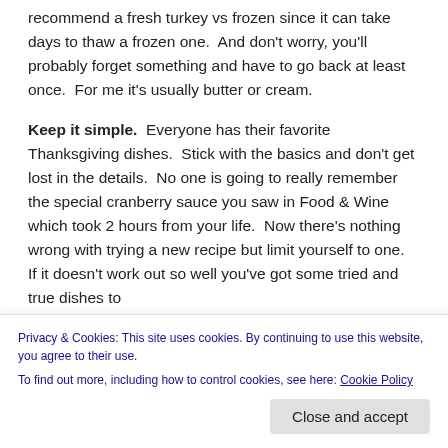recommend a fresh turkey vs frozen since it can take days to thaw a frozen one.  And don't worry, you'll probably forget something and have to go back at least once.  For me it's usually butter or cream.
Keep it simple.  Everyone has their favorite Thanksgiving dishes.  Stick with the basics and don't get lost in the details.  No one is going to really remember the special cranberry sauce you saw in Food & Wine which took 2 hours from your life.  Now there's nothing wrong with trying a new recipe but limit yourself to one.  If it doesn't work out so well you've got some tried and true dishes to
Privacy & Cookies: This site uses cookies. By continuing to use this website, you agree to their use.
To find out more, including how to control cookies, see here: Cookie Policy
Close and accept